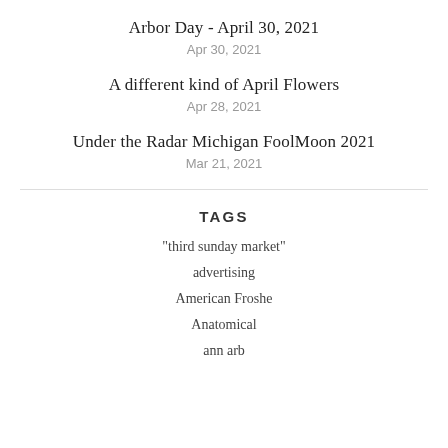Arbor Day - April 30, 2021
Apr 30, 2021
A different kind of April Flowers
Apr 28, 2021
Under the Radar Michigan FoolMoon 2021
Mar 21, 2021
TAGS
"third sunday market"
advertising
American Froshe
Anatomical
ann arb